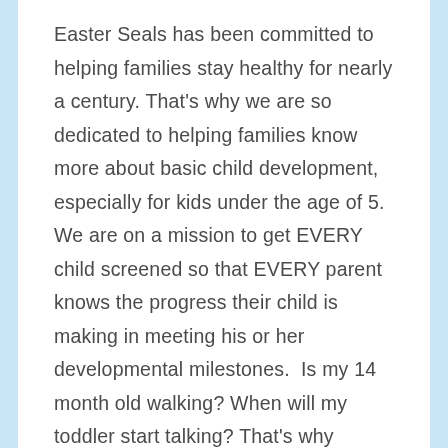Easter Seals has been committed to helping families stay healthy for nearly a century. That's why we are so dedicated to helping families know more about basic child development, especially for kids under the age of 5. We are on a mission to get EVERY child screened so that EVERY parent knows the progress their child is making in meeting his or her developmental milestones.  Is my 14 month old walking? When will my toddler start talking? That's why Easter Seals developed Make the First Five Count (www.makethefirstfivecount.org) – an initiative that works to build awareness and give parents a free, online screening